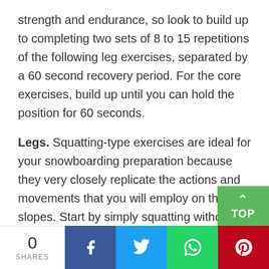strength and endurance, so look to build up to completing two sets of 8 to 15 repetitions of the following leg exercises, separated by a 60 second recovery period. For the core exercises, build up until you can hold the position for 60 seconds.
Legs. Squatting-type exercises are ideal for your snowboarding preparation because they very closely replicate the actions and movements that you will employ on the slopes. Start by simply squatting without using additional weig and, as your legs become stronger, add
0 SHARES | Facebook | Twitter | WhatsApp | Pinterest